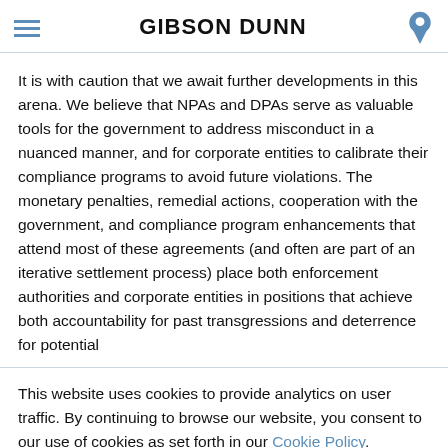GIBSON DUNN
It is with caution that we await further developments in this arena. We believe that NPAs and DPAs serve as valuable tools for the government to address misconduct in a nuanced manner, and for corporate entities to calibrate their compliance programs to avoid future violations. The monetary penalties, remedial actions, cooperation with the government, and compliance program enhancements that attend most of these agreements (and often are part of an iterative settlement process) place both enforcement authorities and corporate entities in positions that achieve both accountability for past transgressions and deterrence for potential
This website uses cookies to provide analytics on user traffic. By continuing to browse our website, you consent to our use of cookies as set forth in our Cookie Policy. However you may visit Cookie Settings to customize your consent.
Cookie Settings
ACCEPT